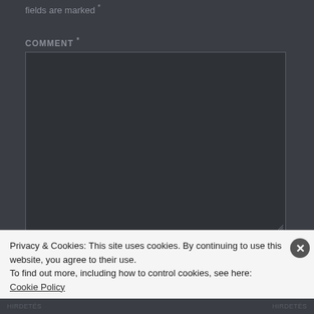fields are marked *
COMMENT *
[Figure (screenshot): Empty comment textarea input field with dark background and resize handle in bottom-right corner]
NAME
Privacy & Cookies: This site uses cookies. By continuing to use this website, you agree to their use.
To find out more, including how to control cookies, see here: Cookie Policy
Close and accept